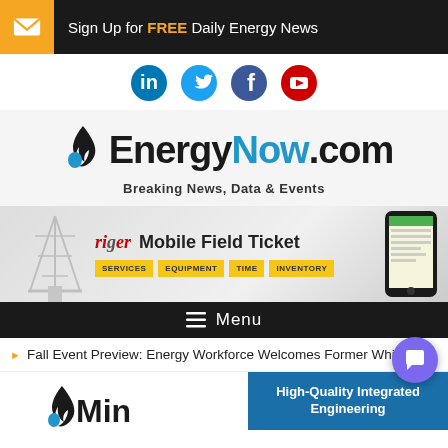Sign Up for FREE Daily Energy News
[Figure (logo): Social media icons: LinkedIn, Twitter, Facebook, YouTube]
[Figure (logo): EnergyNow.com logo with tagline: Breaking News, Data & Events]
[Figure (infographic): riger Mobile Field Ticket advertisement banner with SERVICES, EQUIPMENT, TIME, INVENTORY tags and phone mockup]
≡ Menu
▶ Fall Event Preview: Energy Workforce Welcomes Former Whit
[Figure (infographic): Bottom teaser row with partial logo on left and High-Quality Integrated Engineering banner on right]